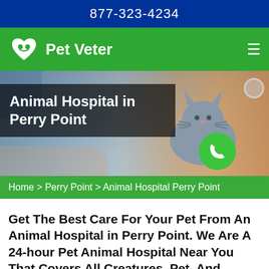877-323-4234
Pet Veter
[Figure (photo): Veterinarian in blue scrubs examining a gray cat with a stethoscope on an examination table, hero banner image]
Animal Hospital in Perry Point
Home > Perry Point > Animal Hospital Perry Point
Get The Best Care For Your Pet From An Animal Hospital in Perry Point. We Are A 24-hour Pet Animal Hospital Near You That Covers All Creatures, Pet, And